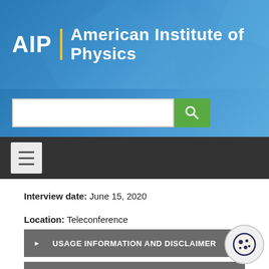[Figure (logo): AIP | American Institute of Physics logo with search bar and navigation]
Interview date:  June 15, 2020
Location:  Teleconference
See catalog record for this interview.
► USAGE INFORMATION AND DISCLAIMER
► PREFERRED CITATION